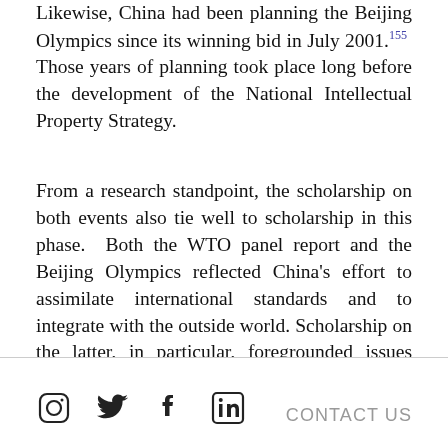Likewise, China had been planning the Beijing Olympics since its winning bid in July 2001.155  Those years of planning took place long before the development of the National Intellectual Property Strategy.
From a research standpoint, the scholarship on both events also tie well to scholarship in this phase.  Both the WTO panel report and the Beijing Olympics reflected China's effort to assimilate international standards and to integrate with the outside world. Scholarship on the latter, in particular, foregrounded issues about global integration.  Because the International
CONTACT US